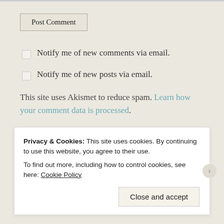Post Comment (button)
Notify me of new comments via email.
Notify me of new posts via email.
This site uses Akismet to reduce spam. Learn how your comment data is processed.
Search …
NOVEMBER 2017
Privacy & Cookies: This site uses cookies. By continuing to use this website, you agree to their use. To find out more, including how to control cookies, see here: Cookie Policy
Close and accept